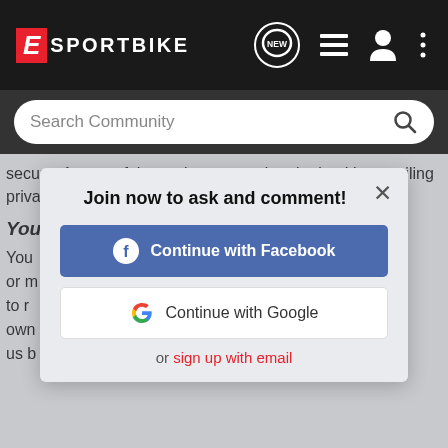[Figure (screenshot): ESportBike website navigation bar with logo, new message icon, list icon, user icon, and more icon on dark background]
[Figure (screenshot): Search Community search bar with magnifying glass icon on dark grey background]
secure. A copy of these clauses can be obtained by emailing privacy@verticalscope.com.
Your Rights
You ... to or m... nd to r... own g us b...
[Figure (screenshot): Modal dialog: Join now to ask and comment! with Continue with Facebook button, Continue with Google button, and or sign up with email link, and close X button]
If y... you... e upo... supervisory authority, in particular in the EU Member State of your habitual residence, if you consider that our processing of your Personal Data infringes applicable law.